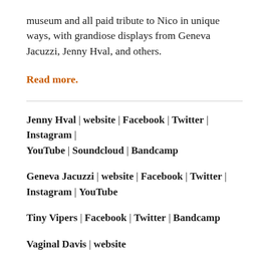museum and all paid tribute to Nico in unique ways, with grandiose displays from Geneva Jacuzzi, Jenny Hval, and others.
Read more.
Jenny Hval | website | Facebook | Twitter | Instagram | YouTube | Soundcloud | Bandcamp
Geneva Jacuzzi | website | Facebook | Twitter | Instagram | YouTube
Tiny Vipers | Facebook | Twitter | Bandcamp
Vaginal Davis | website